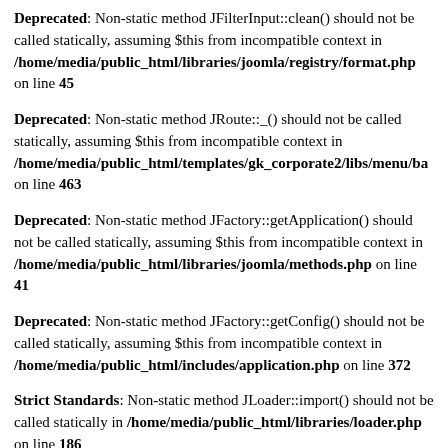Deprecated: Non-static method JFilterInput::clean() should not be called statically, assuming $this from incompatible context in /home/media/public_html/libraries/joomla/registry/format.php on line 45
Deprecated: Non-static method JRoute::_() should not be called statically, assuming $this from incompatible context in /home/media/public_html/templates/gk_corporate2/libs/menu/ba on line 463
Deprecated: Non-static method JFactory::getApplication() should not be called statically, assuming $this from incompatible context in /home/media/public_html/libraries/joomla/methods.php on line 41
Deprecated: Non-static method JFactory::getConfig() should not be called statically, assuming $this from incompatible context in /home/media/public_html/includes/application.php on line 372
Strict Standards: Non-static method JLoader::import() should not be called statically in /home/media/public_html/libraries/loader.php on line 186
Deprecated: Non-static method JRouter::getInstance() should not be called statically, assuming $this from incompatible context in